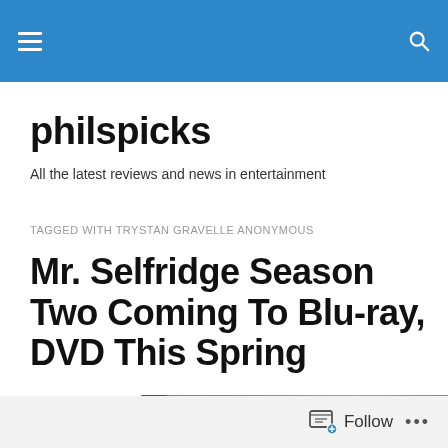philspicks navigation header with hamburger menu and search icon
philspicks
All the latest reviews and news in entertainment
TAGGED WITH TRYSTAN GRAVELLE ANONYMOUS
Mr. Selfridge Season Two Coming To Blu-ray, DVD This Spring
[Figure (photo): Blu-ray disc case shown partially at bottom of page]
Follow ...